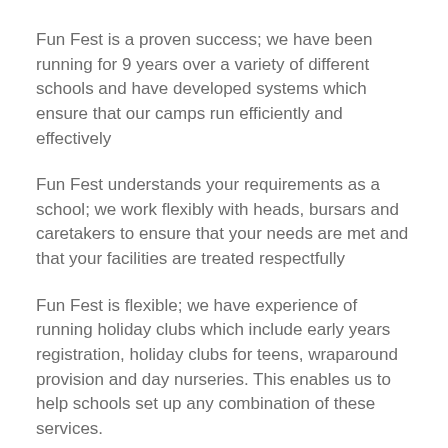Fun Fest is a proven success; we have been running for 9 years over a variety of different schools and have developed systems which ensure that our camps run efficiently and effectively
Fun Fest understands your requirements as a school; we work flexibly with heads, bursars and caretakers to ensure that your needs are met and that your facilities are treated respectfully
Fun Fest is flexible; we have experience of running holiday clubs which include early years registration, holiday clubs for teens, wraparound provision and day nurseries. This enables us to help schools set up any combination of these services.